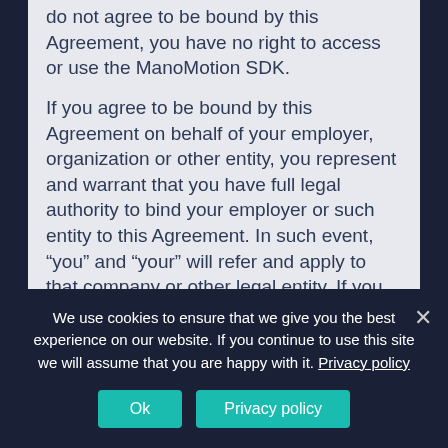do not agree to be bound by this Agreement, you have no right to access or use the ManoMotion SDK.
If you agree to be bound by this Agreement on behalf of your employer, organization or other entity, you represent and warrant that you have full legal authority to bind your employer or such entity to this Agreement. In such event, “you” and “your” will refer and apply to that company or other legal entity. If you do not have the requisite authority, you may not accept the Agreement or use the SDK on behalf of your employer or other entity.
1. DEVELOPER ACCOUNT
We use cookies to ensure that we give you the best experience on our website. If you continue to use this site we will assume that you are happy with it. Privacy policy